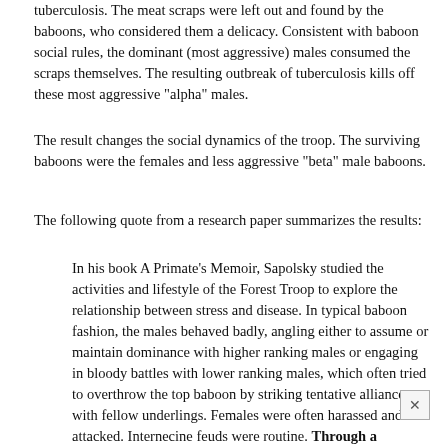tuberculosis. The meat scraps were left out and found by the baboons, who considered them a delicacy. Consistent with baboon social rules, the dominant (most aggressive) males consumed the scraps themselves. The resulting outbreak of tuberculosis kills off these most aggressive "alpha" males.
The result changes the social dynamics of the troop. The surviving baboons were the females and less aggressive "beta" male baboons.
The following quote from a research paper summarizes the results:
In his book A Primate's Memoir, Sapolsky studied the activities and lifestyle of the Forest Troop to explore the relationship between stress and disease. In typical baboon fashion, the males behaved badly, angling either to assume or maintain dominance with higher ranking males or engaging in bloody battles with lower ranking males, which often tried to overthrow the top baboon by striking tentative alliances with fellow underlings. Females were often harassed and attacked. Internecine feuds were routine. Through a heartbreaking twist of fate, the most aggressive males in the Forest Troop were wiped out. The males, which had taken to foraging in an open garbage pit adjacent to a tourist lodge, had contracted bovine tuberculosis, and most died between 1983 and 1986. Their deaths drastically changed the gender composition of the troop, more than doubling the ratio of females to males, and by 1986 troop behavior had changed considerably as well; males were